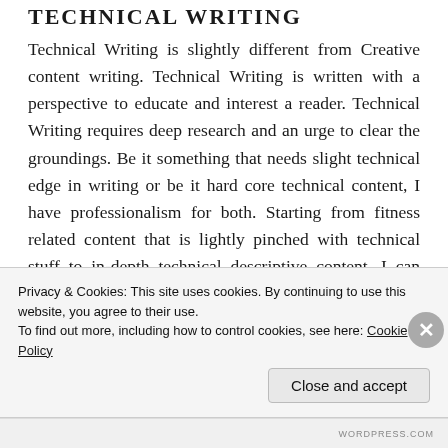TECHNICAL WRITING
Technical Writing is slightly different from Creative content writing. Technical Writing is written with a perspective to educate and interest a reader. Technical Writing requires deep research and an urge to clear the groundings. Be it something that needs slight technical edge in writing or be it hard core technical content, I have professionalism for both. Starting from fitness related content that is lightly pinched with technical stuff to in-depth technical descriptive content, I can handle it all
Privacy & Cookies: This site uses cookies. By continuing to use this website, you agree to their use.
To find out more, including how to control cookies, see here: Cookie Policy
Close and accept
WORDPRESS.COM